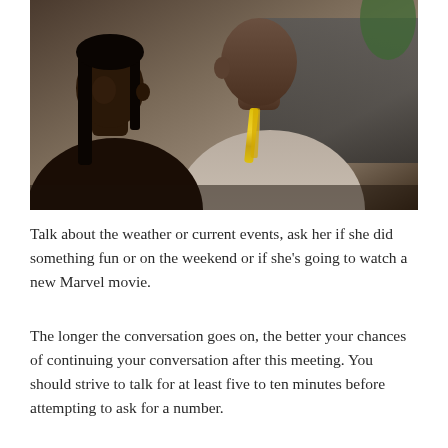[Figure (photo): Two people in an indoor setting. A woman with straight dark hair is in the foreground on the left, looking down. A man wearing a gray hoodie and a gold chain necklace stands behind/beside her, looking toward the camera. Dark furniture and a green plant are visible in the background.]
Talk about the weather or current events, ask her if she did something fun or on the weekend or if she's going to watch a new Marvel movie.
The longer the conversation goes on, the better your chances of continuing your conversation after this meeting. You should strive to talk for at least five to ten minutes before attempting to ask for a number.